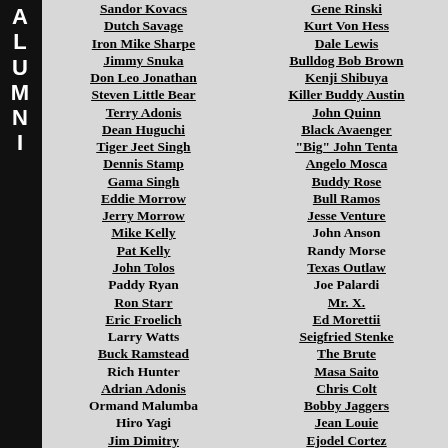Sandor Kovacs
Dutch Savage
Iron Mike Sharpe
Jimmy Snuka
Don Leo Jonathan
Steven Little Bear
Terry Adonis
Dean Huguchi
Tiger Jeet Singh
Dennis Stamp
Gama Singh
Eddie Morrow
Jerry Morrow
Mike Kelly
Pat Kelly
John Tolos
Paddy Ryan
Ron Starr
Eric Froelich
Larry Watts
Buck Ramstead
Rich Hunter
Adrian Adonis
Ormand Malumba
Hiro Yagi
Jim Dimitry
Gene Rinski
Kurt Von Hess
Dale Lewis
Bulldog Bob Brown
Kenji Shibuya
Killer Buddy Austin
John Quinn
Black Avaenger
"Big" John Tenta
Angelo Mosca
Buddy Rose
Bull Ramos
Jesse Venture
John Anson
Randy Morse
Texas Outlaw
Joe Palardi
Mr. X.
Ed Morettii
Seigfried Stenke
The Brute
Masa Saito
Chris Colt
Bobby Jaggers
Jean Louie
Ejodel Cortez